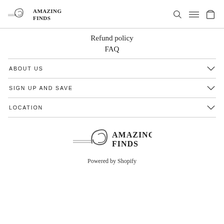Amazing Finds — navigation header with search, menu, and cart icons
Refund policy
FAQ
ABOUT US
SIGN UP AND SAVE
LOCATION
[Figure (logo): Amazing Finds logo — decorative script with two horizontal lines]
Powered by Shopify